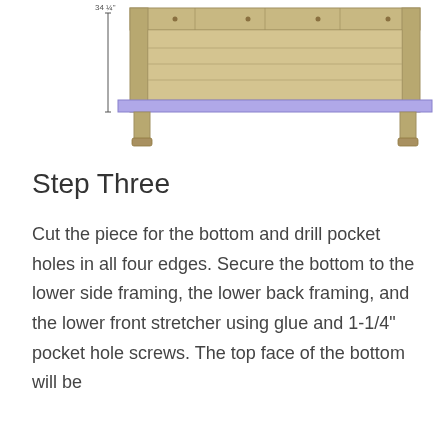[Figure (engineering-diagram): Front view technical diagram of a wooden furniture frame (sideboard/console) with a highlighted blue bottom board. A dimension annotation '34 1/4' is shown on the left side with bracket lines. The wooden frame shows planks across the top with legs visible at the bottom corners.]
Step Three
Cut the piece for the bottom and drill pocket holes in all four edges. Secure the bottom to the lower side framing, the lower back framing, and the lower front stretcher using glue and 1-1/4" pocket hole screws. The top face of the bottom will be